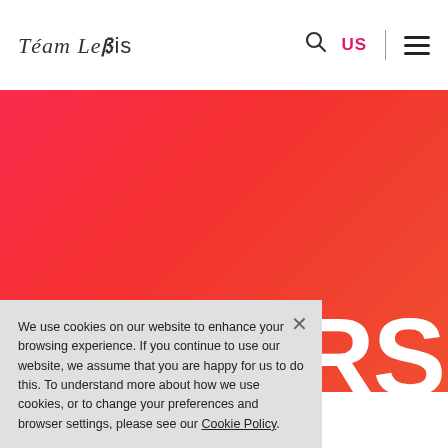Team LeBis
[Figure (illustration): Large red/crimson gradient background banner with rough torn top edge, filling most of the page below the header. Large white bold text 'RS' appears in the bottom-right corner of the banner.]
We use cookies on our website to enhance your browsing experience. If you continue to use our website, we assume that you are happy for us to do this. To understand more about how we use cookies, or to change your preferences and browser settings, please see our Cookie Policy.